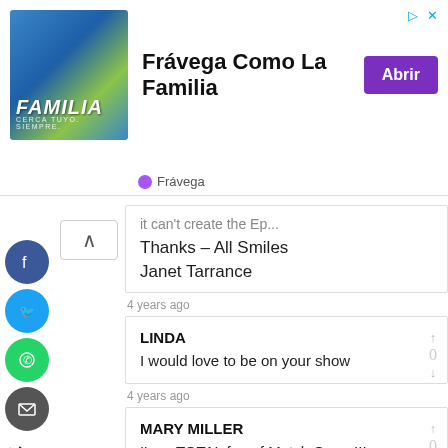[Figure (screenshot): Advertisement banner for Frávega Como La Familia with photo of people and purple Abrir button]
Frávega
it can't create the Ep...
Thanks – All Smiles
Janet Tarrance
4 years ago
LINDA
I would love to be on your show
4 years ago
MARY MILLER
I'm a TOTAL fan of Match Game!!!
I faithfully watched the original